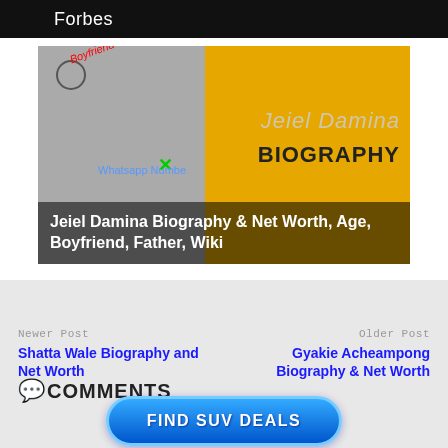Forbes
[Figure (photo): Jeiel Damina biography image with yellow background on right side, woman in foreground, text overlay 'Jeiel Damina BIOGRAPHY' and 'Jeiel Damina Biography & Net Worth, Age, Boyfriend, Father, Wiki']
Newer Post
Shatta Wale Biography and Net Worth
Older Post
Gyakie Acheampong Biography & Net Worth
COMMENTS
[Figure (other): FIND SUV DEALS advertisement banner button]